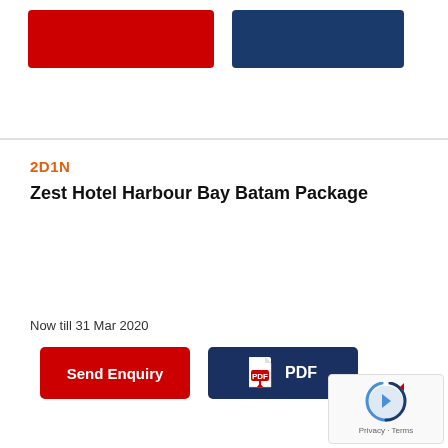[Figure (screenshot): Top section with two buttons: a red button and a blue button, partially visible at top of page]
2D1N
Zest Hotel Harbour Bay Batam Package
Now till 31 Mar 2020
[Figure (other): Send Enquiry red button]
[Figure (other): PDF dark blue button with PDF icon]
[Figure (other): Google reCAPTCHA widget bottom right with Privacy and Terms text]